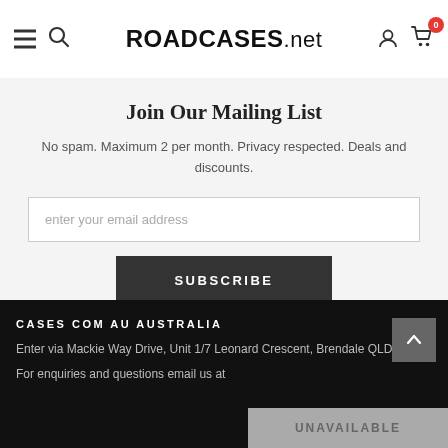ROADCASES.net
Join Our Mailing List
No spam. Maximum 2 per month. Privacy respected. Deals and discounts.
enter your email address
SUBSCRIBE
CASES COM AU AUSTRALIA
Enter via Mackie Way Drive, Unit 1/7 Leonard Crescent, Brendale QLD 4500
For enquiries and questions email us at
UNAVAILABLE